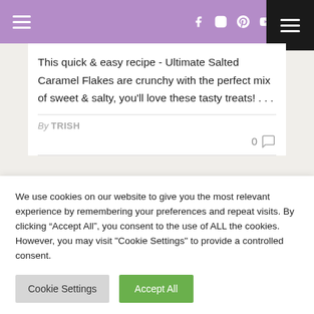Navigation bar with hamburger menu, social icons (Facebook, Instagram, Pinterest, YouTube), and dark menu button
This quick & easy recipe - Ultimate Salted Caramel Flakes are crunchy with the perfect mix of sweet & salty, you'll love these tasty treats! ...
By TRISH
0 (comment icon)
We use cookies on our website to give you the most relevant experience by remembering your preferences and repeat visits. By clicking “Accept All”, you consent to the use of ALL the cookies. However, you may visit "Cookie Settings" to provide a controlled consent.
Cookie Settings | Accept All